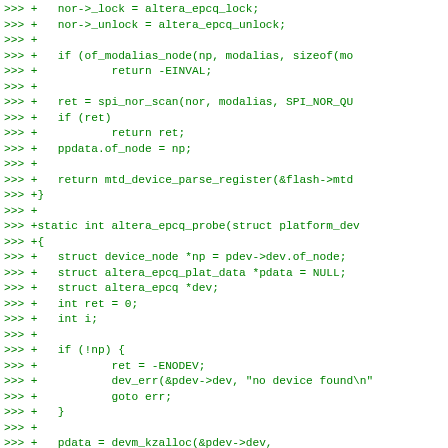[Figure (screenshot): Code diff snippet showing C source code additions (prefixed with >>> +) for an Altera EPCQ driver, including function bodies for nor->_lock, nor->_unlock, spi_nor_scan, mtd_device_parse_register, altera_epcq_probe, and local variable declarations, rendered in green monospace font on white background.]